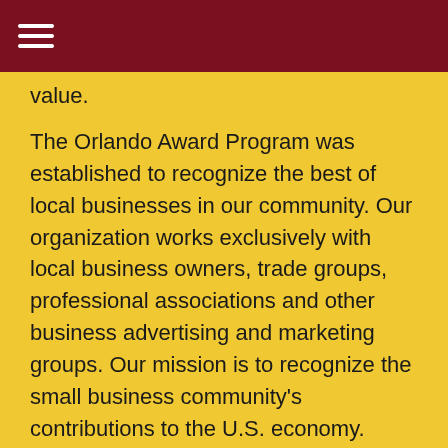value.
The Orlando Award Program was established to recognize the best of local businesses in our community. Our organization works exclusively with local business owners, trade groups, professional associations and other business advertising and marketing groups. Our mission is to recognize the small business community's contributions to the U.S. economy.
SOURCE: Orlando Award Program
Read More